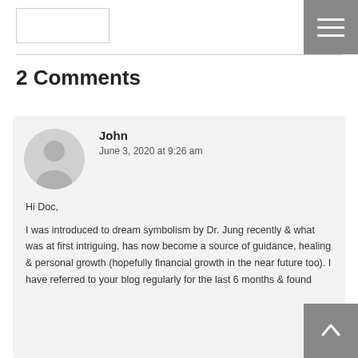[logo box] [hamburger menu button]
2 Comments
John
June 3, 2020 at 9:26 am

Hi Doc,

I was introduced to dream symbolism by Dr. Jung recently & what was at first intriguing, has now become a source of guidance, healing & personal growth (hopefully financial growth in the near future too). I have referred to your blog regularly for the last 6 months & found